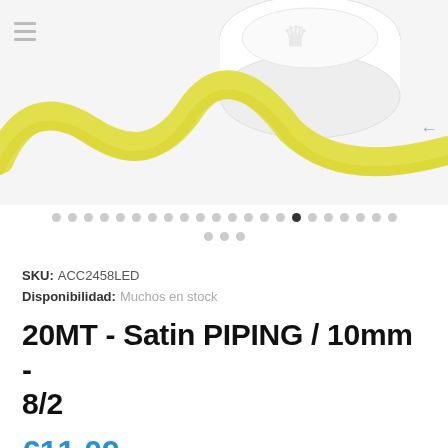[Figure (photo): Yellow satin piping ribbon on a white spool, photographed on a white background. The ribbon curves in a loop in the foreground.]
SKU: ACC2458LED
Disponibilidad: Muchos en stock
20MT - Satin PIPING / 10mm - 8/2
€11,09
Tax included.